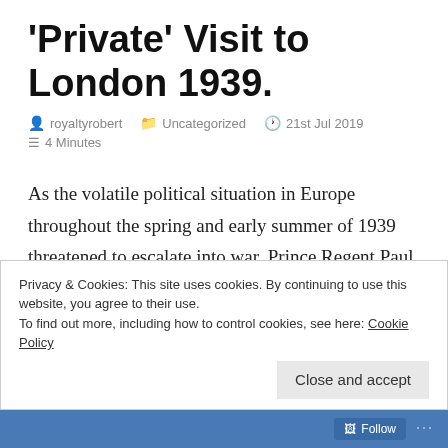'Private' Visit to London 1939.
royaltyrobert   Uncategorized   21st Jul 2019
4 Minutes
As the volatile political situation in Europe throughout the spring and early summer of 1939 threatened to escalate into war, Prince Regent Paul of Yugoslavia, whose Balkan Kingdom was already under threat both
Privacy & Cookies: This site uses cookies. By continuing to use this website, you agree to their use.
To find out more, including how to control cookies, see here: Cookie Policy
Close and accept